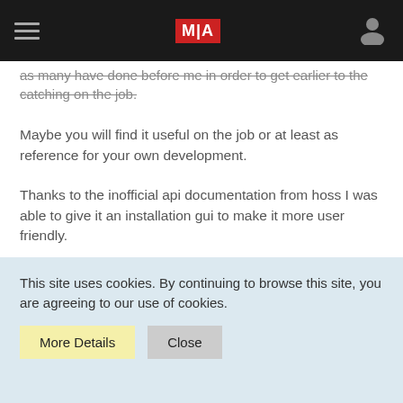MIA
as many have done before me in order to get earlier to the catching on the job.
Maybe you will find it useful on the job or at least as reference for your own development.
Thanks to the inofficial api documentation from hoss I was able to give it an installation gui to make it more user friendly.
I would be happy to receive some feedback if you like it or if you don´t what I may improve.
This site uses cookies. By continuing to browse this site, you are agreeing to our use of cookies.